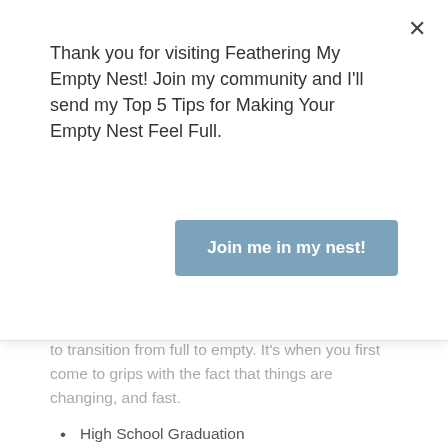Thank you for visiting Feathering My Empty Nest! Join my community and I'll send my Top 5 Tips for Making Your Empty Nest Feel Full.
Join me in my nest!
to transition from full to empty. It's when you first come to grips with the fact that things are changing, and fast.
High School Graduation
College
College Graduation
Grad School
Career
Marriage
Establishing a home
You get where I'm going with this don't you?  You know